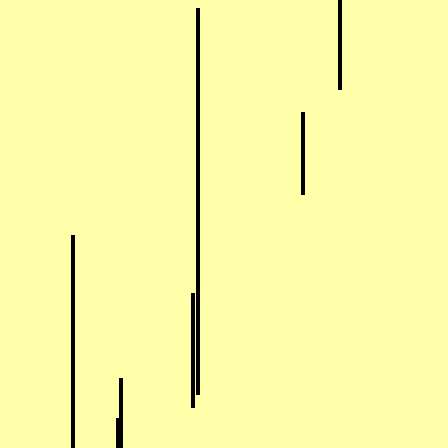[Figure (organizational-chart): Genealogical family tree diagram showing ancestors of Papineau family. Includes: Papineau, Owen Frederic b.1880 d.1957; Wales, Sarah E. b.UNKNOWN ? d.1893 ?; Papineau, Owen Calder b. JAN 1910 London, England d.1970; Calder, Eleanor Sarah b.1882 d.1941; Papineau, Jacob b. -- Not Shown--; Kahn, Constance (partial).]